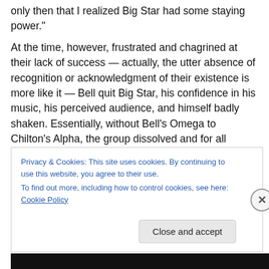only then that I realized Big Star had some staying power."
At the time, however, frustrated and chagrined at their lack of success — actually, the utter absence of recognition or acknowledgment of their existence is more like it — Bell quit Big Star, his confidence in his music, his perceived audience, and himself badly shaken. Essentially, without Bell's Omega to Chilton's Alpha, the group dissolved and for all intents and purposes disbanded, broken by public indifference and the personal paralysis it brought. Or so it seemed.
Privacy & Cookies: This site uses cookies. By continuing to use this website, you agree to their use.
To find out more, including how to control cookies, see here: Cookie Policy
Close and accept